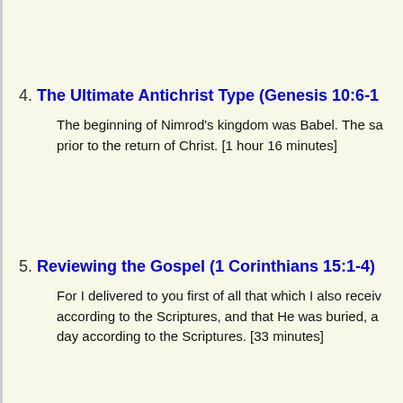4. The Ultimate Antichrist Type (Genesis 10:6-1
The beginning of Nimrod's kingdom was Babel. The sa prior to the return of Christ. [1 hour 16 minutes]
5. Reviewing the Gospel (1 Corinthians 15:1-4)
For I delivered to you first of all that which I also receiv according to the Scriptures, and that He was buried, a day according to the Scriptures. [33 minutes]